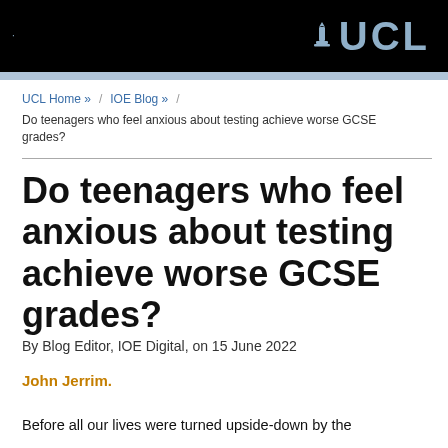UCL
UCL Home »   /   IOE Blog »   /
Do teenagers who feel anxious about testing achieve worse GCSE grades?
Do teenagers who feel anxious about testing achieve worse GCSE grades?
By Blog Editor, IOE Digital, on 15 June 2022
John Jerrim.
Before all our lives were turned upside-down by the